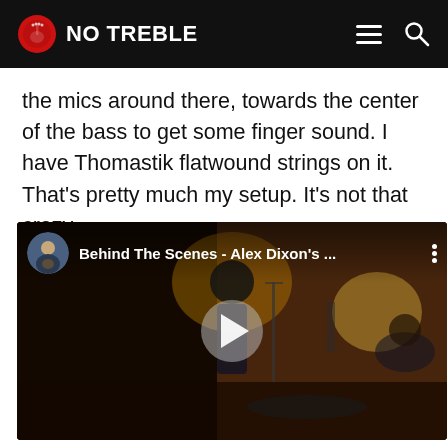NO TREBLE
the mics around there, towards the center of the bass to get some finger sound. I have Thomastik flatwound strings on it. That's pretty much my setup. It's not that crazy.
[Figure (screenshot): Embedded YouTube-style video thumbnail showing a recording studio scene with musicians. Title overlay reads 'Behind The Scenes - Alex Dixon's ...' with a play button in the center.]